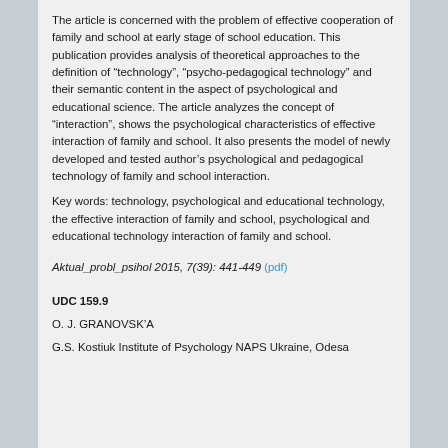The article is concerned with the problem of effective cooperation of family and school at early stage of school education. This publication provides analysis of theoretical approaches to the definition of “technology”, “psycho-pedagogical technology” and their semantic content in the aspect of psychological and educational science. The article analyzes the concept of “interaction”, shows the psychological characteristics of effective interaction of family and school. It also presents the model of newly developed and tested author’s psychological and pedagogical technology of family and school interaction.
Key words: technology, psychological and educational technology, the effective interaction of family and school, psychological and educational technology interaction of family and school.
Aktual_probl_psihol 2015, 7(39): 441-449 (pdf)
UDC 159.9
O. J. GRANOVSK’A
G.S. Kostiuk Institute of Psychology NAPS Ukraine, Odesa